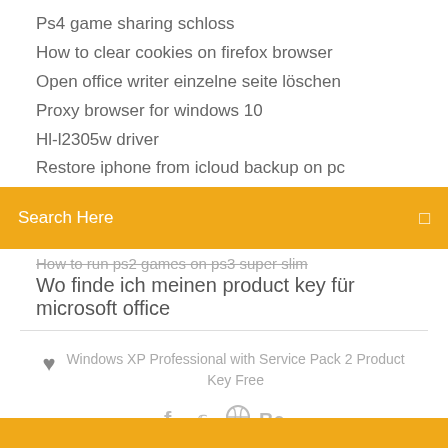Ps4 game sharing schloss
How to clear cookies on firefox browser
Open office writer einzelne seite löschen
Proxy browser for windows 10
Hl-l2305w driver
Restore iphone from icloud backup on pc
Search Here
How to run ps2 games on ps3 super slim
Wo finde ich meinen product key für microsoft office
Windows XP Professional with Service Pack 2 Product Key Free
[Figure (infographic): Social media icons: f (facebook), bird (twitter), circle-x (dribbble), Be (behance)]